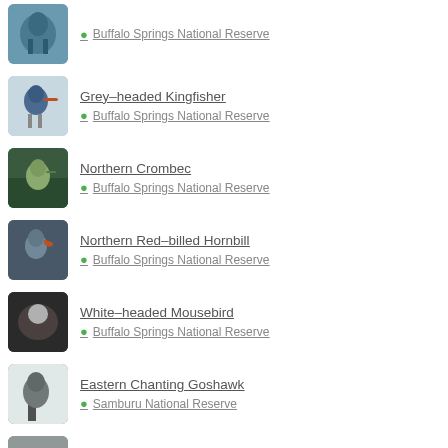Buffalo Springs National Reserve
[Figure (photo): Bird photo thumbnail - kingfisher-like bird]
Grey-headed Kingfisher
Buffalo Springs National Reserve
[Figure (photo): Bird photo thumbnail - grey-headed kingfisher on branch]
Northern Crombec
Buffalo Springs National Reserve
[Figure (photo): Bird photo thumbnail - northern crombec on branch]
Northern Red-billed Hornbill
Buffalo Springs National Reserve
[Figure (photo): Bird photo thumbnail - hornbill]
White-headed Mousebird
Buffalo Springs National Reserve
[Figure (photo): Bird photo thumbnail - mousebird in nest]
Eastern Chanting Goshawk
Samburu National Reserve
[Figure (photo): Bird photo thumbnail - goshawk on branch]
Somali Crombec
Samburu National Reserve
[Figure (photo): Bird photo thumbnail - somali crombec]
Pink-breasted Lark